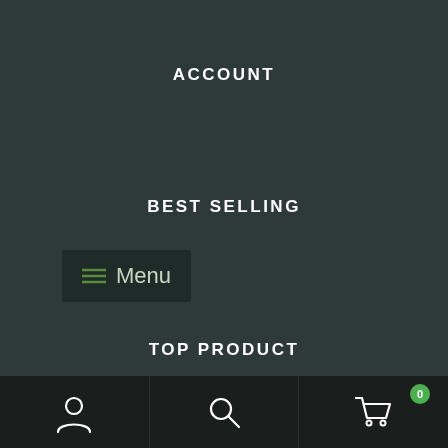ACCOUNT
BEST SELLING
[Figure (screenshot): Menu button with hamburger icon showing three green lines and the text 'Menu' on a dark background]
TOP PRODUCT
Hydrocodone 325mg
Percocet 325mg
[Figure (infographic): Bottom navigation bar with user/account icon, search icon, and shopping cart icon with badge showing 0]